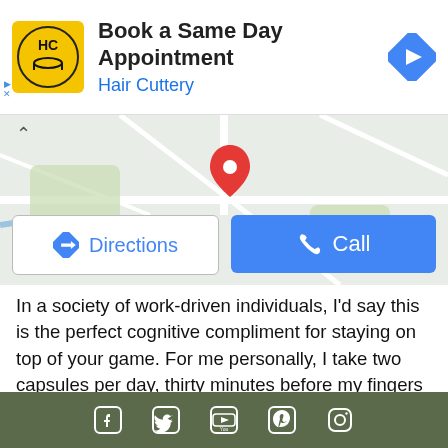[Figure (screenshot): Hair Cuttery ad banner with logo, title 'Book a Same Day Appointment', subtitle 'Hair Cuttery', and navigation icon on right]
[Figure (map): Google Maps screenshot showing a neighborhood map with a red location pin marker in the center, with Directions and Call buttons overlaid at bottom]
In a society of work-driven individuals, I'd say this is the perfect cognitive compliment for staying on top of your game. For me personally, I take two capsules per day, thirty minutes before my fingers hit the keyboard. Having done this for nearly a year, I find that not only am I able to concentrate for longer periods of time with minimal distraction, but my mental thought processes become
Social media icons: Facebook, Twitter, YouTube, Pinterest, Instagram